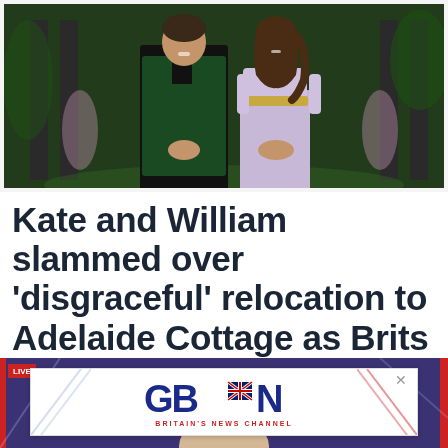[Figure (photo): Photo of a man in a dark green velvet blazer and a woman in a light lavender/lilac pleated dress standing side by side at a formal event against a building backdrop with green lighting]
Kate and William slammed over 'disgraceful' relocation to Adelaide Cottage as Brits face 'crippling inflation'
[Figure (screenshot): Screenshot of GB News (Britain's News Channel) live broadcast with an advertisement overlay showing the GB News logo]
[Figure (logo): GB News - Britain's News Channel advertisement banner]